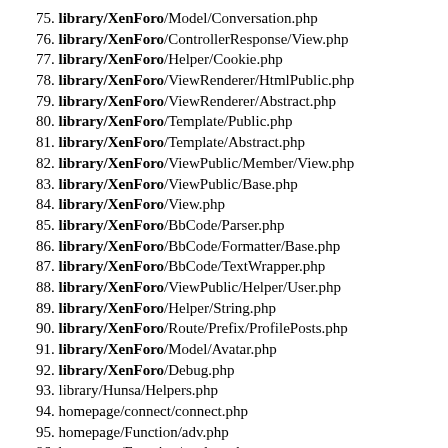75. library/XenForo/Model/Conversation.php
76. library/XenForo/ControllerResponse/View.php
77. library/XenForo/Helper/Cookie.php
78. library/XenForo/ViewRenderer/HtmlPublic.php
79. library/XenForo/ViewRenderer/Abstract.php
80. library/XenForo/Template/Public.php
81. library/XenForo/Template/Abstract.php
82. library/XenForo/ViewPublic/Member/View.php
83. library/XenForo/ViewPublic/Base.php
84. library/XenForo/View.php
85. library/XenForo/BbCode/Parser.php
86. library/XenForo/BbCode/Formatter/Base.php
87. library/XenForo/BbCode/TextWrapper.php
88. library/XenForo/ViewPublic/Helper/User.php
89. library/XenForo/Helper/String.php
90. library/XenForo/Route/Prefix/ProfilePosts.php
91. library/XenForo/Model/Avatar.php
92. library/XenForo/Debug.php
93. library/Hunsa/Helpers.php
94. homepage/connect/connect.php
95. homepage/Function/adv.php
96. homepage/Function/getdata.php
97. library/Zend/Debug.php
98. library/XenForo/ViewRenderer/Json.php